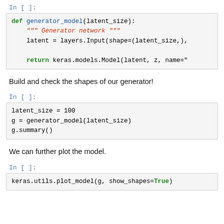In [ ]:
def generator_model(latent_size):
    """ Generator network """
    latent = layers.Input(shape=(latent_size,),

    return keras.models.Model(latent, z, name="
Build and check the shapes of our generator!
In [ ]:
latent_size = 100
g = generator_model(latent_size)
g.summary()
We can further plot the model.
In [ ]:
keras.utils.plot_model(g, show_shapes=True)